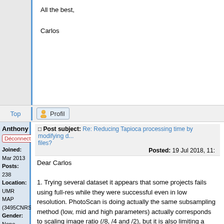All the best,

Carlos
Top
Profil
Anthony
Déconnecté
Joined: Mar 2013 Posts: 238 Location: UMR MAP (3495CNRS/MCC) Gender: None specified
Post subject: Re: Reducing Tapioca processing time by modifying d... files?
Posted: 19 Jul 2018, 11:
Dear Carlos

1. Trying several dataset it appears that some projects fails using full-res while they were successful even in low resolution. PhotoScan is doing actually the same subsampling method (low, mid and high parameters) actually corresponds to scaling image ratio (/8, /4 and /2), but it is also limiting a maximum amount, of key points (4000 by default if I remember well). The question is, how are filtered/selected the point, in the PS black-box ? In MicMac you can select the method (heuristic method, spatial distribution, redundancy) by the tools mentioned by Jo. But it's an other (still effective) step, and not solving you velocity request. It's kind of hard to define a good ratio, but at the current stage of development of our fully automated platform (based on MicMac). A photogrammetric friendly